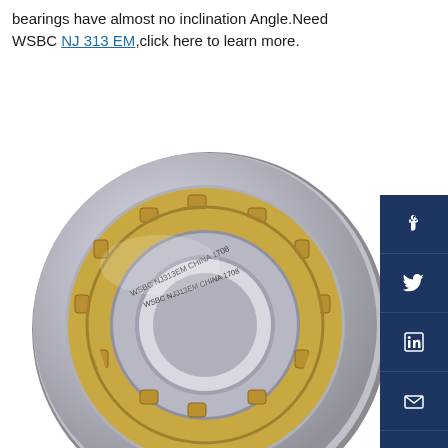bearings have almost no inclination Angle.Need WSBC NJ 313 EM,click here to learn more.
[Figure (photo): WSBC NJ313EM cylindrical roller bearing with brass cage, showing two rows of rollers and engraved markings 'WSBC NJ313EM CHINA 1708' on the metallic ring.]